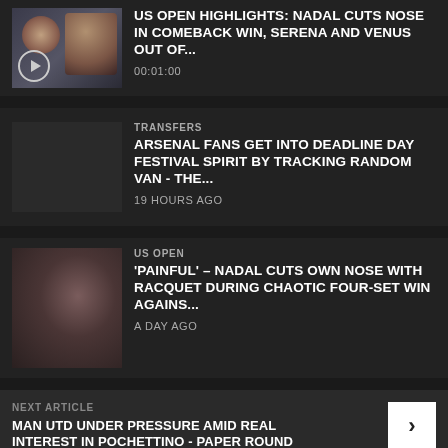[Figure (photo): Tennis player photo thumbnail with play button icon overlay]
US OPEN HIGHLIGHTS: NADAL CUTS NOSE IN COMEBACK WIN, SERENA AND VENUS OUT OF...
00:01:00
TRANSFERS
ARSENAL FANS GET INTO DEADLINE DAY FESTIVAL SPIRIT BY TRACKING RANDOM VAN - THE...
19 HOURS AGO
US OPEN
'PAINFUL' - NADAL CUTS OWN NOSE WITH RACQUET DURING CHAOTIC FOUR-SET WIN AGAINS...
A DAY AGO
NEXT ARTICLE
MAN UTD UNDER PRESSURE AMID REAL INTEREST IN POCHETTINO - PAPER ROUND